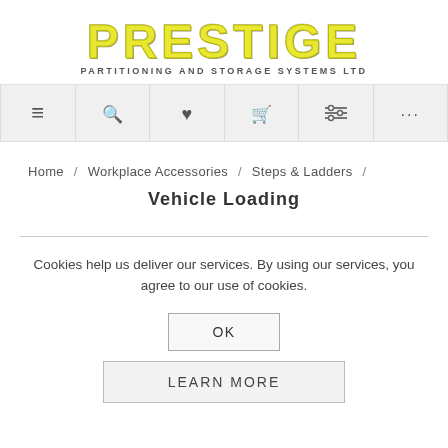[Figure (logo): Prestige Partitioning and Storage Systems Ltd logo with yellow stylized text and subtitle]
[Figure (screenshot): Navigation bar with icons: hamburger menu, search, heart/wishlist, shopping cart, filter, more (...)]
Home / Workplace Accessories / Steps & Ladders /
Vehicle Loading
Cookies help us deliver our services. By using our services, you agree to our use of cookies.
OK
LEARN MORE